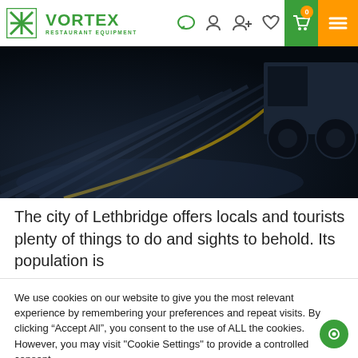VORTEX RESTAURANT EQUIPMENT
[Figure (photo): A dark highway road surface with yellow lane markings and a truck visible in the upper right, shot from a low angle with motion blur effect.]
The city of Lethbridge offers locals and tourists plenty of things to do and sights to behold. Its population is
We use cookies on our website to give you the most relevant experience by remembering your preferences and repeat visits. By clicking “Accept All”, you consent to the use of ALL the cookies. However, you may visit "Cookie Settings" to provide a controlled consent.